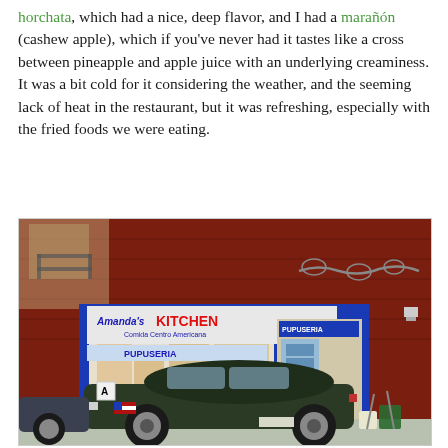horchata, which had a nice, deep flavor, and I had a marañón (cashew apple), which if you've never had it tastes like a cross between pineapple and apple juice with an underlying creaminess. It was a bit cold for it considering the weather, and the seeming lack of heat in the restaurant, but it was refreshing, especially with the fried foods we were eating.
[Figure (photo): Exterior photo of Amanda's Kitchen, a Central American restaurant with a blue storefront, a PUPUSERIA sign, and a dark green sedan parked in front. The building behind has red-painted wooden siding.]